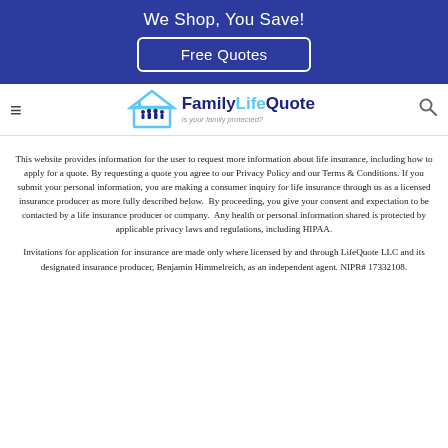We Shop, You Save!
Free Quotes
[Figure (logo): FamilyLifeQuote logo with house icon and tagline 'is your family protected?']
This website provides information for the user to request more information about life insurance, including how to apply for a quote. By requesting a quote you agree to our Privacy Policy and our Terms & Conditions. If you submit your personal information, you are making a consumer inquiry for life insurance through us as a licensed insurance producer as more fully described below. By proceeding, you give your consent and expectation to be contacted by a life insurance producer or company. Any health or personal information shared is protected by applicable privacy laws and regulations, including HIPAA.
Invitations for application for insurance are made only where licensed by and through LifeQuote LLC and its designated insurance producer, Benjamin Himmelreich, as an independent agent. NIPR# 17332108.